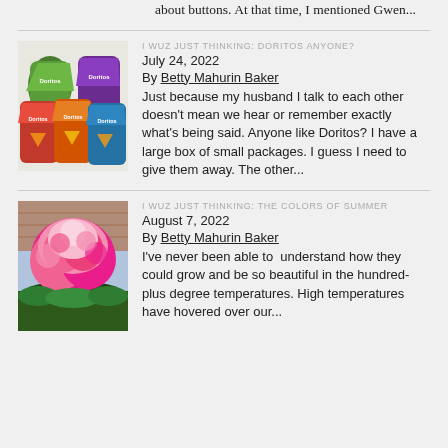about buttons. At that time, I mentioned Gwen...
I WUZ JUST THINKING: DORITOS ANYONE?
July 24, 2022
By Betty Mahurin Baker
Just because my husband I talk to each other doesn't mean we hear or remember exactly what's being said. Anyone like Doritos? I have a large box of small packages. I guess I need to give them away. The other...
[Figure (photo): Multiple bags of Doritos chips in various flavors]
I WUZ JUST THINKING: THE COLORS OF SUMMER
August 7, 2022
By Betty Mahurin Baker
I've never been able to  understand how they could grow and be so beautiful in the hundred-plus degree temperatures. High temperatures have hovered over our...
[Figure (photo): Pink flowering crape myrtle tree in front of brick building]